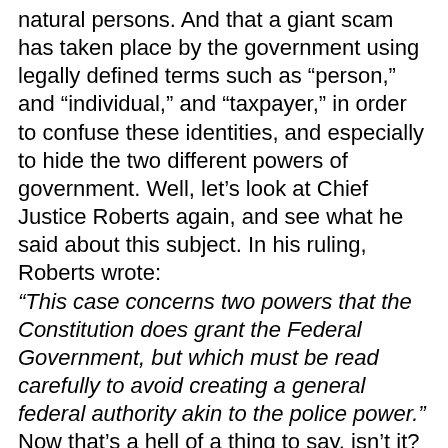natural persons. And that a giant scam has taken place by the government using legally defined terms such as “person,” and “individual,” and “taxpayer,” in order to confuse these identities, and especially to hide the two different powers of government. Well, let’s look at Chief Justice Roberts again, and see what he said about this subject. In his ruling, Roberts wrote: “This case concerns two powers that the Constitution does grant the Federal Government, but which must be read carefully to avoid creating a general federal authority akin to the police power.” Now that’s a hell of a thing to say, isn’t it? “This case concerns two powers.” If you disregard the analysis presented above, then ask yourself - what two powers? After all, isn’t that why the country has been ripping itself to shreds over Robert’s ruling